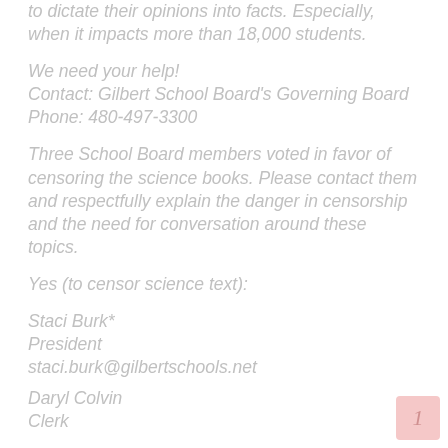to dictate their opinions into facts. Especially, when it impacts more than 18,000 students.
We need your help!
Contact: Gilbert School Board's Governing Board
Phone: 480-497-3300
Three School Board members voted in favor of censoring the science books. Please contact them and respectfully explain the danger in censorship and the need for conversation around these topics.
Yes (to censor science text):
Staci Burk*
President
staci.burk@gilbertschools.net
Daryl Colvin
Clerk